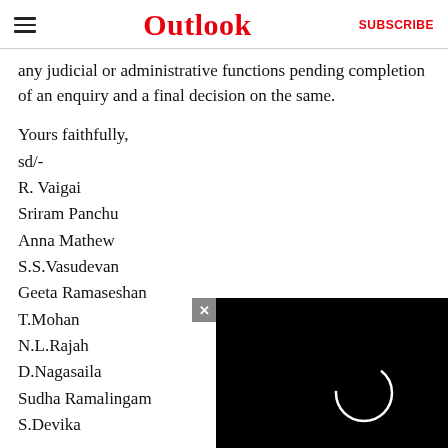Outlook  SUBSCRIBE
any judicial or administrative functions pending completion of an enquiry and a final decision on the same.
Yours faithfully,
sd/-
R. Vaigai
Sriram Panchu
Anna Mathew
S.S.Vasudevan
Geeta Ramaseshan
T.Mohan
N.L.Rajah
D.Nagasaila
Sudha Ramalingam
S.Devika
[Figure (screenshot): Black video player overlay with close (x) button and partial white circle loading icon]